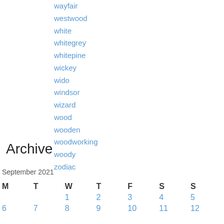wayfair
westwood
white
whitegrey
whitepine
wickey
wido
windsor
wizard
wood
wooden
woodworking
woody
zodiac
Archive
September 2021
| M | T | W | T | F | S | S |
| --- | --- | --- | --- | --- | --- | --- |
|  |  | 1 | 2 | 3 | 4 | 5 |
| 6 | 7 | 8 | 9 | 10 | 11 | 12 |